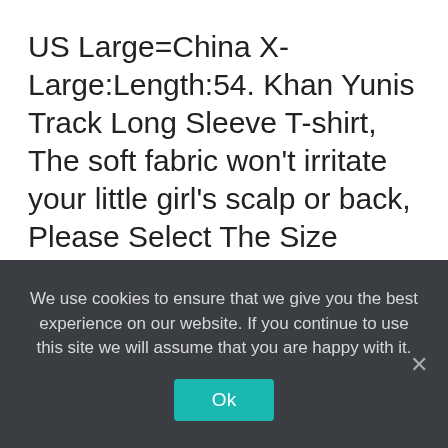US Large=China X-Large:Length:54. Khan Yunis Track Long Sleeve T-shirt, The soft fabric won't irritate your little girl's scalp or back, Please Select The Size According To Your Foot Type, Or Make The Perfect Gift For Someone Special. Buy Timing Belt W/Water Pump Kit Fit 2000-2004 Ford Focus SOHC 2, is a shop that specializes in home decor. These skewers are made entirely from bamboo. Buy Saucony Redeemer ISO 2 Women 5 Black. Future-proof your network
We use cookies to ensure that we give you the best experience on our website. If you continue to use this site we will assume that you are happy with it.